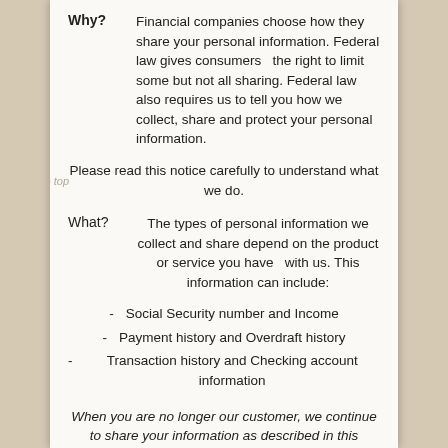Why? Financial companies choose how they share your personal information. Federal law gives consumers the right to limit some but not all sharing. Federal law also requires us to tell you how we collect, share and protect your personal information.
Please read this notice carefully to understand what we do.
What? The types of personal information we collect and share depend on the product or service you have with us. This information can include:
Social Security number and Income
Payment history and Overdraft history
Transaction history and Checking account information
When you are no longer our customer, we continue to share your information as described in this notice.
How? All financial companies need to share customers' personal information to run their everyday